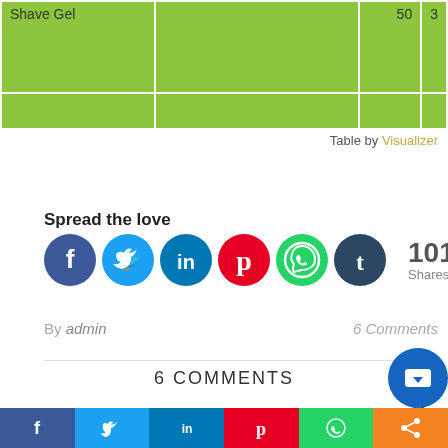|  |  | 50 | 3 |
| --- | --- | --- | --- |
| Shave Gel |  |  |  |
Table by Visualizer
Spread the love
[Figure (infographic): Row of social media share buttons: Facebook, Twitter, LinkedIn, Pinterest, WhatsApp, Tumblr, followed by share count 101 Shares]
By admin   6 Comments
6 COMMENTS
[Figure (infographic): Bottom social share bar with Facebook, Twitter, LinkedIn, Pinterest, WhatsApp, and generic share icons]